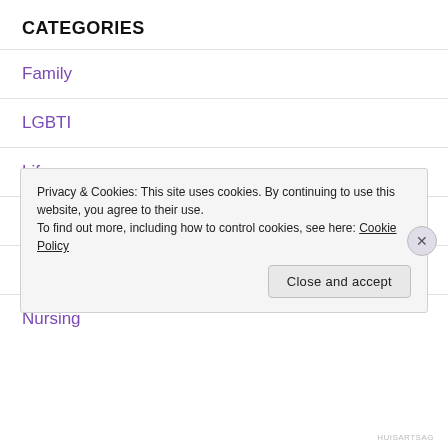CATEGORIES
Family
LGBTI
Life
Mental Health
Music
Nursing
Privacy & Cookies: This site uses cookies. By continuing to use this website, you agree to their use.
To find out more, including how to control cookies, see here: Cookie Policy
HUISARTSAG